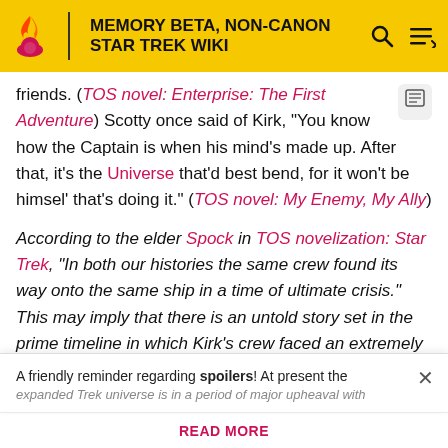MEMORY BETA, NON-CANON STAR TREK WIKI
friends. (TOS novel: Enterprise: The First Adventure) Scotty once said of Kirk, "You know how the Captain is when his mind's made up. After that, it's the Universe that'd best bend, for it won't be himsel' that's doing it." (TOS novel: My Enemy, My Ally)
According to the elder Spock in TOS novelization: Star Trek, "In both our histories the same crew found its way onto the same ship in a time of ultimate crisis." This may imply that there is an untold story set in the prime timeline in which Kirk's crew faced an extremely serious
A friendly reminder regarding spoilers! At present the expanded Trek universe is in a period of major upheaval with
READ MORE